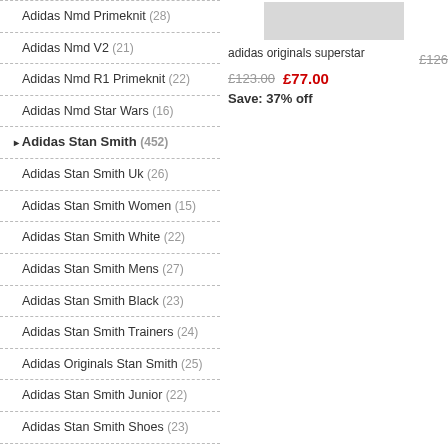Adidas Nmd Primeknit (28)
Adidas Nmd V2 (21)
Adidas Nmd R1 Primeknit (22)
Adidas Nmd Star Wars (16)
Adidas Stan Smith (452)
Adidas Stan Smith Uk (26)
Adidas Stan Smith Women (15)
Adidas Stan Smith White (22)
Adidas Stan Smith Mens (27)
Adidas Stan Smith Black (23)
Adidas Stan Smith Trainers (24)
Adidas Originals Stan Smith (25)
Adidas Stan Smith Junior (22)
Adidas Stan Smith Shoes (23)
Adidas Stan Smith Recon (21)
Adidas Stan Smith Velcro (17)
[Figure (photo): Product image placeholder for adidas originals superstar]
adidas originals superstar
£123.00  £77.00  Save: 37% off
adida...